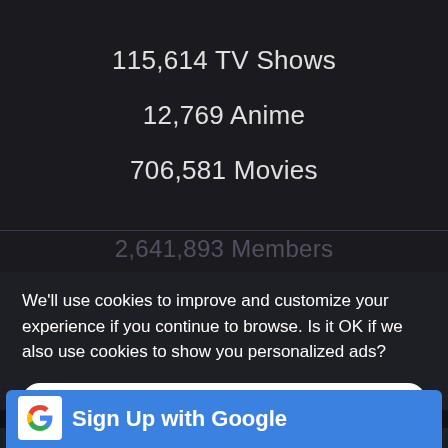115,614 TV Shows
12,769 Anime
706,581 Movies
2,641,893 Members
We’ll use cookies to improve and customize your experience if you continue to browse. Is it OK if we also use cookies to show you personalized ads?
Yes, Accept Cookies
[Figure (screenshot): Sign Up with Google button with Google logo]